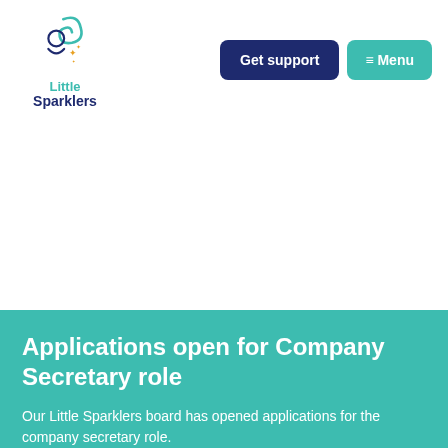[Figure (logo): Little Sparklers logo with teal swirl and person icon with stars, text 'Little Sparklers' in teal and dark navy blue]
Get support
≡ Menu
Applications open for Company Secretary role
Our Little Sparklers board has opened applications for the company secretary role.
Read more